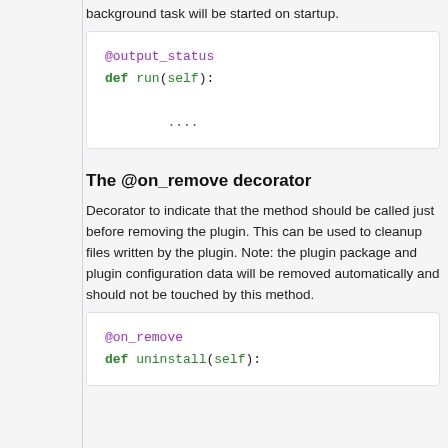background task will be started on startup.
[Figure (screenshot): Code block showing @output_status decorator and def run(self): method with ... body]
The @on_remove decorator
Decorator to indicate that the method should be called just before removing the plugin. This can be used to cleanup files written by the plugin. Note: the plugin package and plugin configuration data will be removed automatically and should not be touched by this method.
[Figure (screenshot): Code block showing @on_remove decorator and def uninstall(self): method]